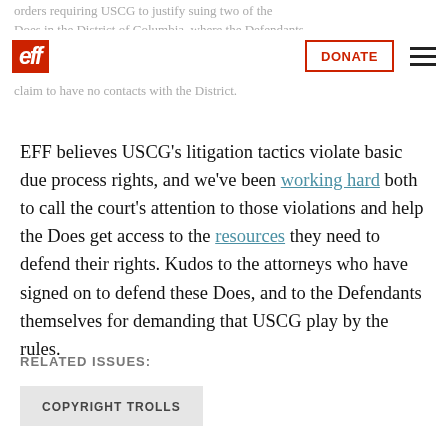EFF | DONATE
orders requiring USCG to justify suing two of the Does in the District of Columbia, where the Defendants claim to have no contacts with the District.
EFF believes USCG's litigation tactics violate basic due process rights, and we've been working hard both to call the court's attention to those violations and help the Does get access to the resources they need to defend their rights. Kudos to the attorneys who have signed on to defend these Does, and to the Defendants themselves for demanding that USCG play by the rules.
RELATED ISSUES:
COPYRIGHT TROLLS